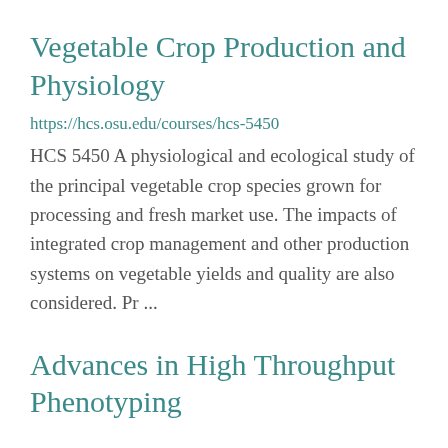Vegetable Crop Production and Physiology
https://hcs.osu.edu/courses/hcs-5450
HCS 5450 A physiological and ecological study of the principal vegetable crop species grown for processing and fresh market use. The impacts of integrated crop management and other production systems on vegetable yields and quality are also considered. Pr ...
Advances in High Throughput Phenotyping